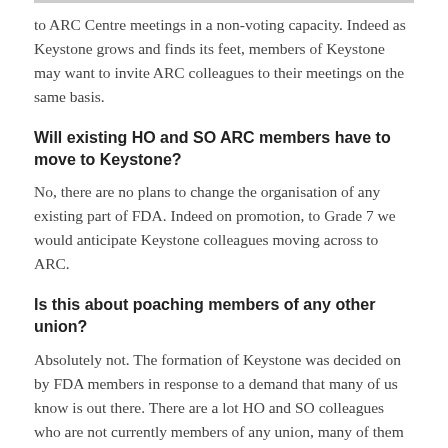to ARC Centre meetings in a non-voting capacity. Indeed as Keystone grows and finds its feet, members of Keystone may want to invite ARC colleagues to their meetings on the same basis.
Will existing HO and SO ARC members have to move to Keystone?
No, there are no plans to change the organisation of any existing part of FDA. Indeed on promotion, to Grade 7 we would anticipate Keystone colleagues moving across to ARC.
Is this about poaching members of any other union?
Absolutely not. The formation of Keystone was decided on by FDA members in response to a demand that many of us know is out there. There are a lot HO and SO colleagues who are not currently members of any union, many of them have asked if they can join